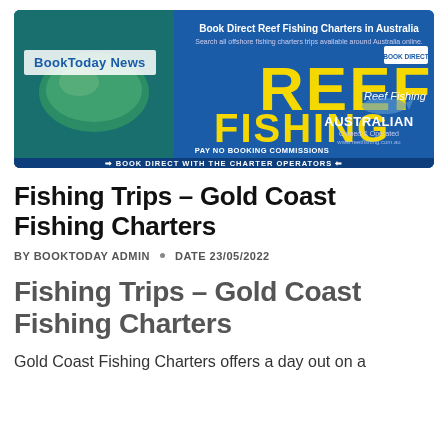[Figure (screenshot): Reef Fishing charter advertisement banner. Blue background with large yellow text 'REEF FISHING', fish image on left, text 'Book Direct Reef Fishing Charters in Australia', 'AUSTRALIAN Owned & Operated', 'PAY NO BOOKING COMMISSIONS', 'BOOK DIRECT WITH THE CHARTER OPERATORS'. 'BookToday News' label overlaid on top-left.]
Fishing Trips - Gold Coast Fishing Charters
BY BOOKTODAY ADMIN · DATE 23/05/2022
Fishing Trips - Gold Coast Fishing Charters
Gold Coast Fishing Charters offers a day out on a